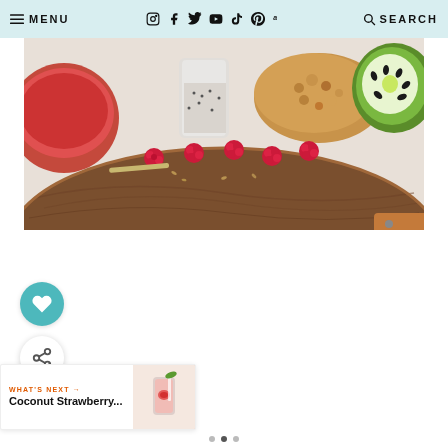MENU | Social icons | SEARCH
[Figure (photo): Overhead view of a wooden serving tray with raspberries scattered on it, a glass of chia pudding, granola, kiwi half, and a red smoothie bowl in the background]
[Figure (other): Teal circular like/heart button]
[Figure (other): White circular share button]
WHAT'S NEXT → Coconut Strawberry...
[Figure (photo): Thumbnail of a coconut strawberry drink]